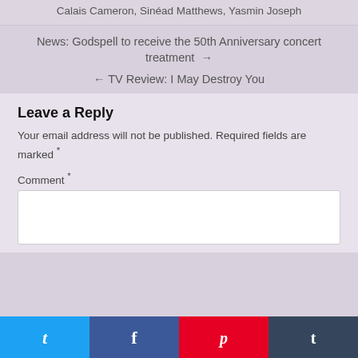Calais Cameron, Sinéad Matthews, Yasmin Joseph
News: Godspell to receive the 50th Anniversary concert treatment →
← TV Review: I May Destroy You
Leave a Reply
Your email address will not be published. Required fields are marked *
Comment *